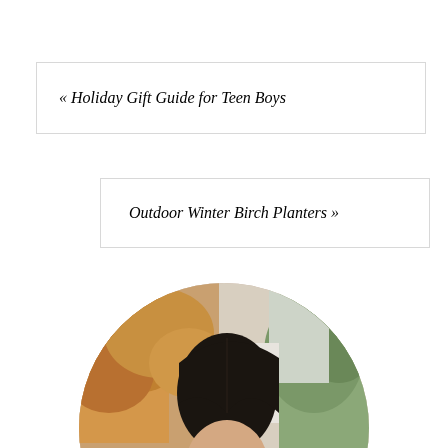« Holiday Gift Guide for Teen Boys
Outdoor Winter Birch Planters »
[Figure (photo): Circular cropped portrait photo of a dark-haired woman looking down, outdoors with autumn trees in background]